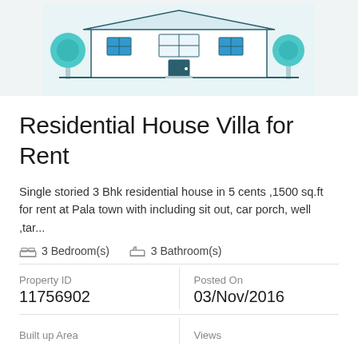[Figure (illustration): Illustration of a residential house/villa with trees and teal/blue color scheme at top of page]
Residential House Villa for Rent
Single storied 3 Bhk residential house in 5 cents ,1500 sq.ft for rent at Pala town with including sit out, car porch, well ,tar...
3 Bedroom(s)   3 Bathroom(s)
| Property ID | Posted On |
| --- | --- |
| 11756902 | 03/Nov/2016 |
| Built up Area | Views |
| --- | --- |